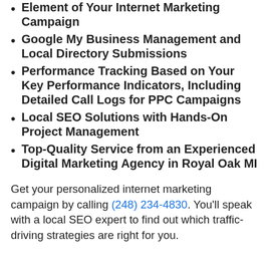Element of Your Internet Marketing Campaign
Google My Business Management and Local Directory Submissions
Performance Tracking Based on Your Key Performance Indicators, Including Detailed Call Logs for PPC Campaigns
Local SEO Solutions with Hands-On Project Management
Top-Quality Service from an Experienced Digital Marketing Agency in Royal Oak MI
Get your personalized internet marketing campaign by calling (248) 234-4830. You’ll speak with a local SEO expert to find out which traffic-driving strategies are right for you.